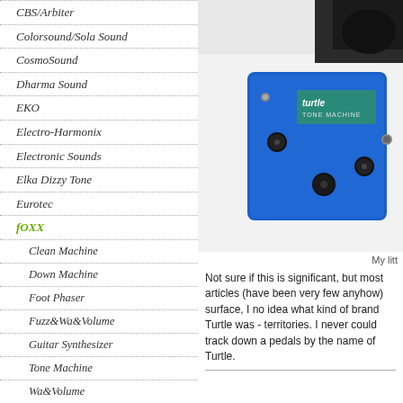CBS/Arbiter
Colorsound/Sola Sound
CosmoSound
Dharma Sound
EKO
Electro-Harmonix
Electronic Sounds
Elka Dizzy Tone
Eurotec
fOXX
Clean Machine
Down Machine
Foot Phaser
Fuzz&Wa&Volume
Guitar Synthesizer
Tone Machine
Wa&Volume
Ibanez made by fOXX
[Figure (photo): Blue Turtle Tone Machine guitar effects pedal with knobs, photographed on white surface]
My litt
Not sure if this is significant, but most articles (have been very few anyhow) surface, I no idea what kind of brand Turtle was - territories. I never could track down a pedals by the name of Turtle.